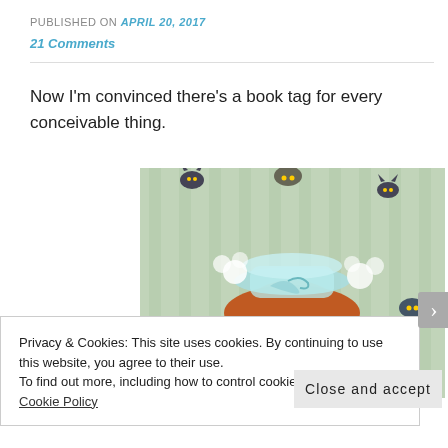PUBLISHED ON April 20, 2017
21 Comments
Now I'm convinced there's a book tag for every conceivable thing.
[Figure (illustration): Cartoon illustration of a woman with red hair and her head open like a jar, with small black cat-like creatures flying around and coming out of her head, on a light green striped background.]
Privacy & Cookies: This site uses cookies. By continuing to use this website, you agree to their use.
To find out more, including how to control cookies, see here: Cookie Policy
Close and accept